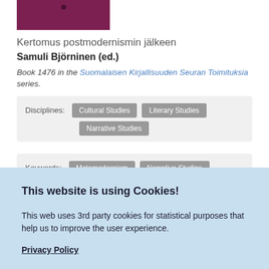[Figure (illustration): Book cover thumbnail with dark maroon/purple background and small dot]
Kertomus postmodernismin jälkeen
Samuli Björninen (ed.)
Book 1476 in the Suomalaisen Kirjallisuuden Seuran Toimituksia series.
Disciplines: Cultural Studies  Literary Studies  Narrative Studies
Keywords: Metamodernism  Narrative Studies
This website is using Cookies!
This web uses 3rd party cookies for statistical purposes that help us to improve the user experience.
Privacy Policy